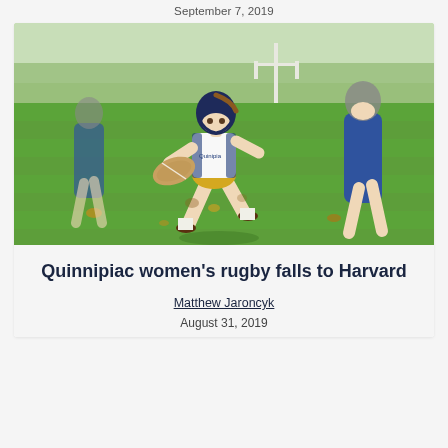September 7, 2019
[Figure (photo): A Quinnipiac women's rugby player in white and blue uniform wearing a navy helmet running with the ball on a green field during a match. Other players visible in the background.]
Quinnipiac women's rugby falls to Harvard
Matthew Jaroncyk
August 31, 2019